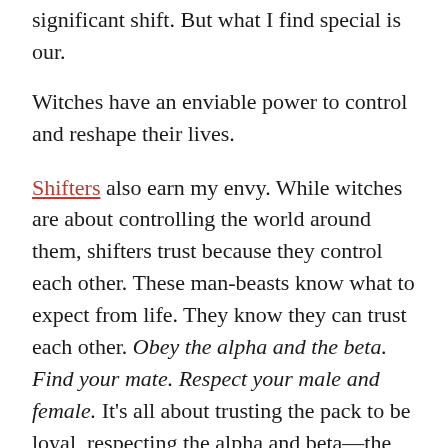significant shift. But what I find special is our...
Witches have an enviable power to control and reshape their lives.
Shifters also earn my envy. While witches are about controlling the world around them, shifters trust because they control each other. These man-beasts know what to expect from life. They know they can trust each other. Obey the alpha and the beta. Find your mate. Respect your male and female. It’s all about trusting the pack to be loyal, respecting the alpha and beta—the strongest and hopefully smartest of the pack—to be smart and honorable, and accepting the chain of command. It’s easy to trust and release control when everyone knows and follows those rules. When a pack functions properly—which rarely seems to